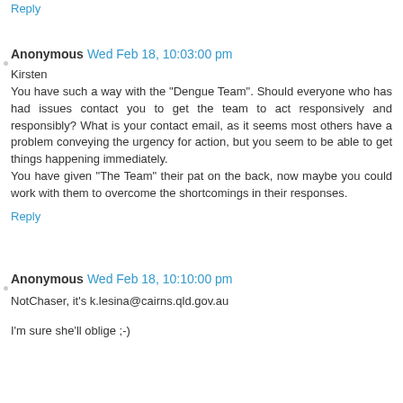Reply
Anonymous  Wed Feb 18, 10:03:00 pm
Kirsten
You have such a way with the "Dengue Team". Should everyone who has had issues contact you to get the team to act responsively and responsibly? What is your contact email, as it seems most others have a problem conveying the urgency for action, but you seem to be able to get things happening immediately.
You have given "The Team" their pat on the back, now maybe you could work with them to overcome the shortcomings in their responses.
Reply
Anonymous  Wed Feb 18, 10:10:00 pm
NotChaser, it's k.lesina@cairns.qld.gov.au
I'm sure she'll oblige ;-)